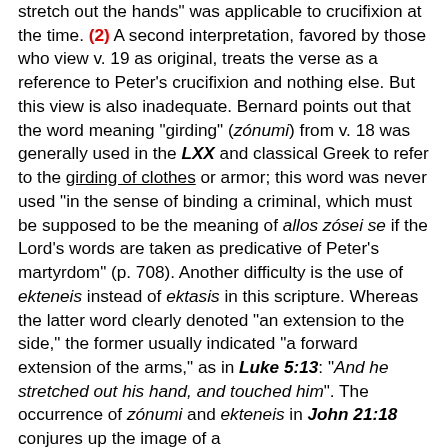stretch out the hands" was applicable to crucifixion at the time. (2) A second interpretation, favored by those who view v. 19 as original, treats the verse as a reference to Peter's crucifixion and nothing else. But this view is also inadequate. Bernard points out that the word meaning "girding" (zónumi) from v. 18 was generally used in the LXX and classical Greek to refer to the girding of clothes or armor; this word was never used "in the sense of binding a criminal, which must be supposed to be the meaning of allos zósei se if the Lord's words are taken as predicative of Peter's martyrdom" (p. 708). Another difficulty is the use of ekteneis instead of ektasis in this scripture. Whereas the latter word clearly denoted "an extension to the side," the former usually indicated "a forward extension of the arms," as in Luke 5:13: "And he stretched out his hand, and touched him". The occurrence of zónumi and ekteneis in John 21:18 conjures up the image of a